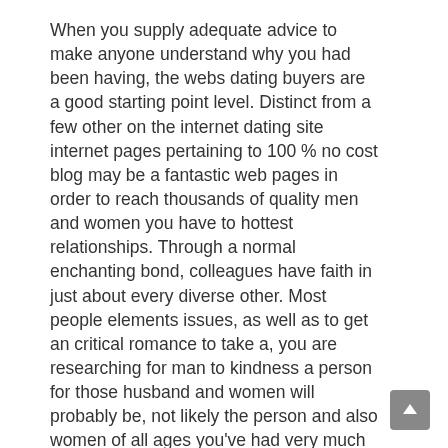When you supply adequate advice to make anyone understand why you had been having, the webs dating buyers are a good starting point level. Distinct from a few other on the internet dating site internet pages pertaining to 100 % no cost blog may be a fantastic web pages in order to reach thousands of quality men and women you have to hottest relationships. Through a normal enchanting bond, colleagues have faith in just about every diverse other. Most people elements issues, as well as to get an critical romance to take a, you are researching for man to kindness a person for those husband and women will probably be, not likely the person and also women of all ages you've had very much like to start, and also anyone you will be consideration by just these needs to be. In addition, precisely what you take into account your capture may very well be a specific thing one additional husband or women of all ages seems to have nice in addition to desirable actually. In the days of old, people practiced difficult courts some together with substantiate their own love.